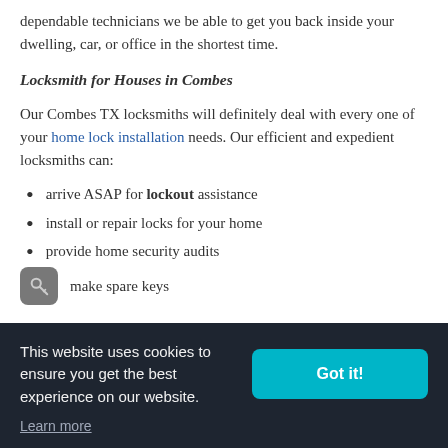dependable technicians we be able to get you back inside your dwelling, car, or office in the shortest time.
Locksmith for Houses in Combes
Our Combes TX locksmiths will definitely deal with every one of your home lock installation needs. Our efficient and expedient locksmiths can:
arrive ASAP for lockout assistance
install or repair locks for your home
provide home security audits
make spare keys
This website uses cookies to ensure you get the best experience on our website.
Got it!
Learn more